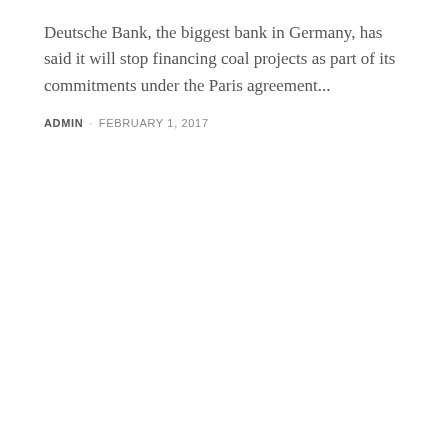Deutsche Bank, the biggest bank in Germany, has said it will stop financing coal projects as part of its commitments under the Paris agreement...
ADMIN · FEBRUARY 1, 2017